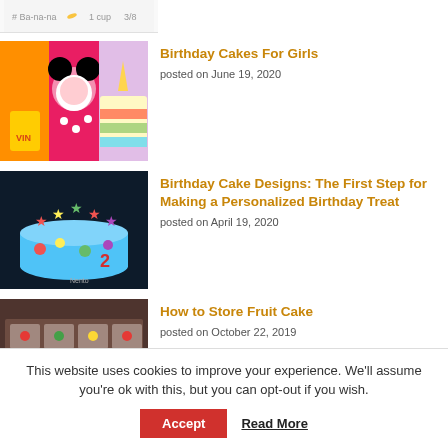[Figure (photo): Partial top strip showing a recipe image cropped at top of page]
[Figure (photo): Three birthday cakes for girls - colorful themed cakes including Minnie Mouse and unicorn]
Birthday Cakes For Girls
posted on June 19, 2020
[Figure (photo): Dark background birthday cake with colorful star decorations]
Birthday Cake Designs: The First Step for Making a Personalized Birthday Treat
posted on April 19, 2020
[Figure (photo): Fruit cake pieces with colorful decorations on a tray]
How to Store Fruit Cake
posted on October 22, 2019
This website uses cookies to improve your experience. We'll assume you're ok with this, but you can opt-out if you wish.
Accept
Read More